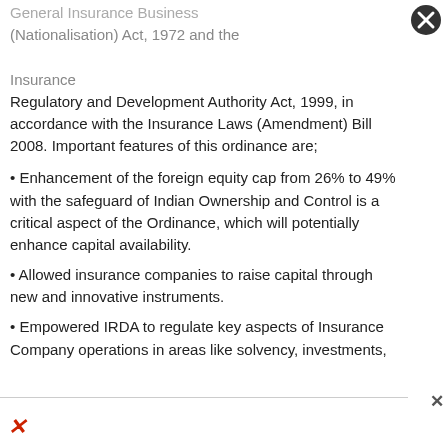General Insurance Business (Nationalisation) Act, 1972 and the Insurance Regulatory and Development Authority Act, 1999, in accordance with the Insurance Laws (Amendment) Bill 2008. Important features of this ordinance are;
• Enhancement of the foreign equity cap from 26% to 49% with the safeguard of Indian Ownership and Control is a critical aspect of the Ordinance, which will potentially enhance capital availability.
• Allowed insurance companies to raise capital through new and innovative instruments.
• Empowered IRDA to regulate key aspects of Insurance Company operations in areas like solvency, investments,